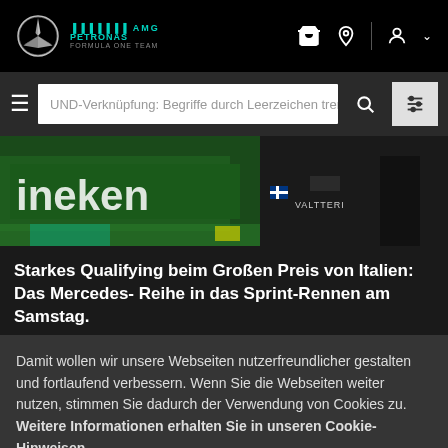Mercedes AMG Petronas Formula One Team
UND-Verknüpfung: Begriffe durch Leerzeichen tren
[Figure (photo): Racing photo showing Heineken branding on a green car with pit crew in background, Valtteri Bottas visible]
Starkes Qualifying beim Großen Preis von Italien: Das Mercedes- Reihe in das Sprint-Rennen am Samstag.
Damit wollen wir unsere Webseiten nutzerfreundlicher gestalten und fortlaufend verbessern. Wenn Sie die Webseiten weiter nutzen, stimmen Sie dadurch der Verwendung von Cookies zu. Weitere Informationen erhalten Sie in unseren Cookie-Hinweisen.
✔ AKZEPTIEREN